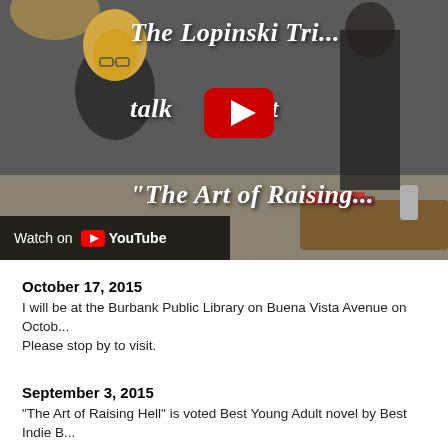[Figure (screenshot): YouTube video thumbnail showing a woman sitting in a living room. Overlay text reads 'The Lopinski Tri... talk...out "The Art of Raising...' with a YouTube play button in the center and a 'Watch on YouTube' bar at the bottom left.]
October 17, 2015
I will be at the Burbank Public Library on Buena Vista Avenue on Octob... Please stop by to visit.
September 3, 2015
"The Art of Raising Hell" is voted Best Young Adult novel by Best Indie B...